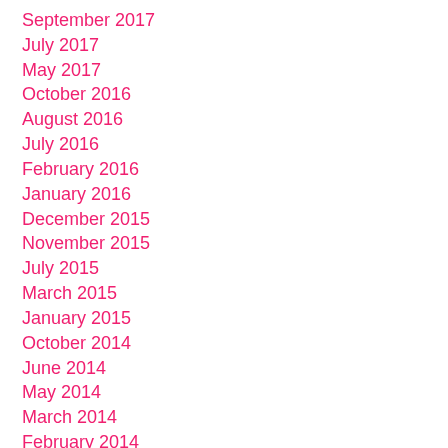September 2017
July 2017
May 2017
October 2016
August 2016
July 2016
February 2016
January 2016
December 2015
November 2015
July 2015
March 2015
January 2015
October 2014
June 2014
May 2014
March 2014
February 2014
January 2014
November 2013
October 2013